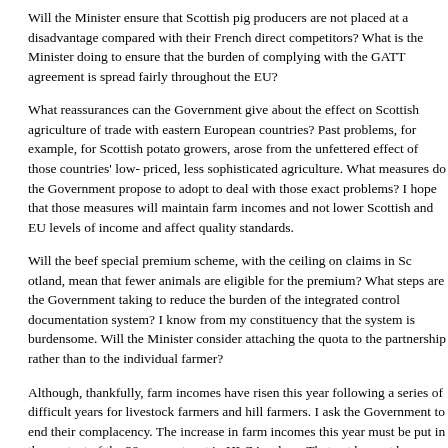Will the Minister ensure that Scottish pig producers are not placed at a disadvantage compared with their French direct competitors? What is the Minister doing to ensure that the burden of complying with the GATT agreement is spread fairly throughout the EU?
What reassurances can the Government give about the effect on Scottish agriculture of trade with eastern European countries? Past problems, for example, for Scottish potato growers, arose from the unfettered effect of those countries' low- priced, less sophisticated agriculture. What measures do the Government propose to adopt to deal with those exact problems? I hope that those measures will maintain farm incomes and not lower Scottish and EU levels of income and affect quality standards.
Will the beef special premium scheme, with the ceiling on claims in Scotland, mean that fewer animals are eligible for the premium? What steps are the Government taking to reduce the burden of the integrated control documentation system? I know from my constituency that the system is burdensome. Will the Minister consider attaching the quota to the partnership rather than to the individual farmer?
Although, thankfully, farm incomes have risen this year following a series of difficult years for livestock farmers and hill farmers. I ask the Government to end their complacency. The increase in farm incomes this year must be put in the context of the 29 per cent. cut in HLCA values. That cut has not been fully made up in a section of the industry that is very vulnerable. I deeply regret that traditional markets that have served both consumer and producer well in past decades. I especially draw attention to the importance of the seed and ware markets to Scotland. Short-termism by multiple retailers means that the Scottish system of agricultural research is in danger of being broken up in preference for research in England. Scottish Office Ministers can only sit and watch, as is happening when the Ministry of Agriculture, Food takes decisions at European level. In European negotiations, I ex
Column 215
more strongly for specific Scottish interests, although that could be guaranteed if Scotland were in Europe in our own right. In addition to ensuring that specific Scottish interests on agriculture are fully registered, it is important that the strongest possible case be mad